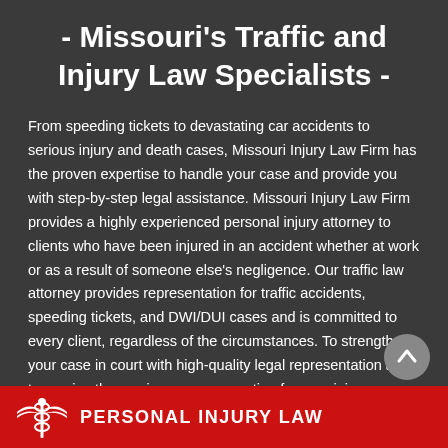- Missouri's Traffic and Injury Law Specialists -
From speeding tickets to devastating car accidents to serious injury and death cases, Missouri Injury Law Firm has the proven expertise to handle your case and provide you with step-by-step legal assistance. Missouri Injury Law Firm provides a highly experienced personal injury attorney to clients who have been injured in an accident whether at work or as a result of someone else's negligence. Our traffic law attorney provides representation for traffic accidents, speeding tickets, and DWI/DUI cases and is committed to every client, regardless of the circumstances. To strengthen your case in court with high-quality legal representation and to receive the maximum compensation for your injury, choose Missouri Injury Law Firm.
[Figure (other): Red banner at bottom with white caduceus medical symbol icon on left and partial text 'PERSONAL INJURY LAW' in white bold letters]